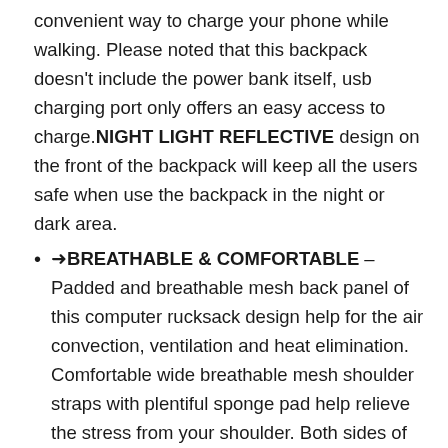convenient way to charge your phone while walking. Please noted that this backpack doesn't include the power bank itself, usb charging port only offers an easy access to charge.NIGHT LIGHT REFLECTIVE design on the front of the backpack will keep all the users safe when use the backpack in the night or dark area.
➜BREATHABLE & COMFORTABLE – Padded and breathable mesh back panel of this computer rucksack design help for the air convection, ventilation and heat elimination. Comfortable wide breathable mesh shoulder straps with plentiful sponge pad help relieve the stress from your shoulder. Both sides of the shoulder strap with lanyard design, can hang sunglasses and other small pendants.Premium bookbags for men also school backpack for teen boys. And it is a Ideal gifts for men women.